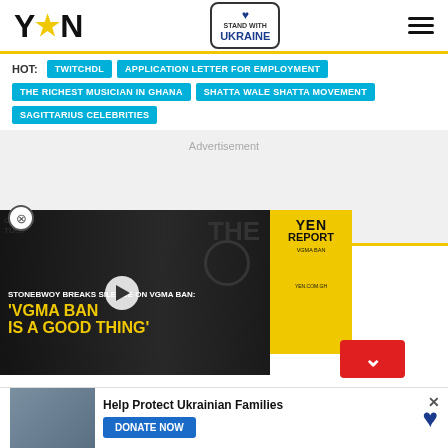YEN | STAND WITH UKRAINE
HOT: TWITCHDL | APPLICATION LETTER FOR EMPLOYMENT | THE RICHEST MUSICIAN IN GHANA | SHATTA WALE SHATTA MOVEMENT | SAGITTARIUS CELEBRITIES
[Figure (other): Advertisement area placeholder]
my → Technology
[Figure (other): Video popup: Stonebwoy breaks silence on VGMA ban: 'VGMA BAN IS A GOOD THING' with YEN Report badge]
[Figure (other): Help Protect Ukrainian Families - DONATE NOW banner with photo of Ukrainian refugees]